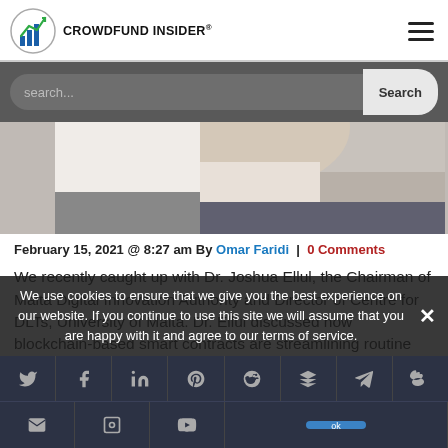CROWDFUND INSIDER
search...
[Figure (photo): Photo of a person in a dark suit and white shirt, partially cropped, from the chest up.]
February 15, 2021 @ 8:27 am By Omar Faridi | 0 Comments
We recently caught up with Dr. Joshua Ellul, the Chairman of Malta Digital Innovation Authority and Director of Centre for DLTs, University of Malta. Dr. Ellul discussed how blockchain-based smart contracts are streamlining routine business processes. He also talked about his research interests which include... Read More
We use cookies to ensure that we give you the best experience on our website. If you continue to use this site we will assume that you are happy with it and agree to our terms of service.